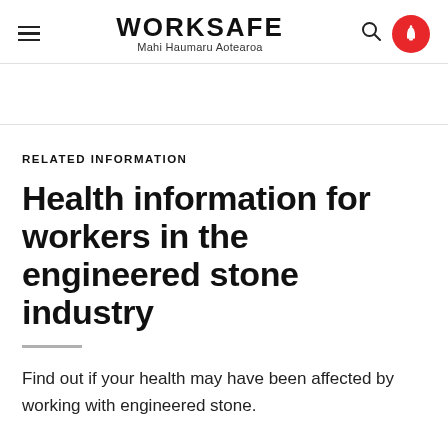WORKSAFE Mahi Haumaru Aotearoa
RELATED INFORMATION
Health information for workers in the engineered stone industry
Find out if your health may have been affected by working with engineered stone.